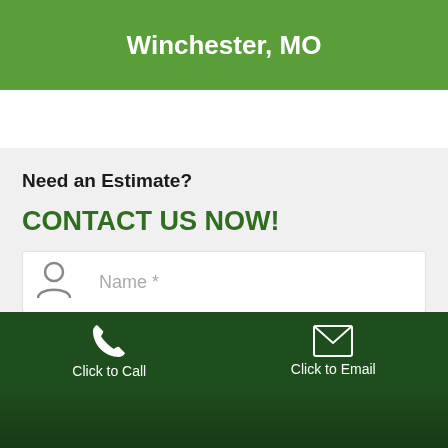Winchester, MO
Need an Estimate?
CONTACT US NOW!
Name *
Click to Call
Click to Email